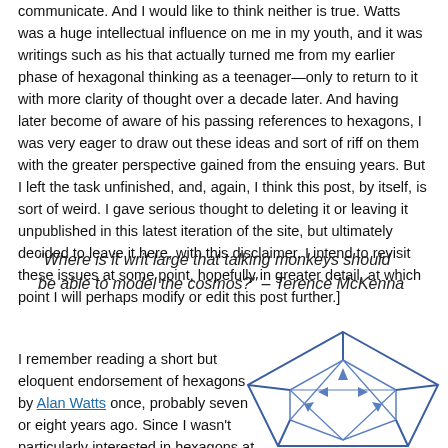communicate. And I would like to think neither is true. Watts was a huge intellectual influence on me in my youth, and it was writings such as his that actually turned me from my earlier phase of hexagonal thinking as a teenager—only to return to it with more clarity of thought over a decade later. And having later become of aware of his passing references to hexagons, I was very eager to draw out these ideas and sort of riff on them with the greater perspective gained from the ensuing years. But I left the task unfinished, and, again, I think this post, by itself, is sort of weird. I gave serious thought to deleting it or leaving it unpublished in this latest iteration of the site, but ultimately decided to leave it here, with this disclaimer. I intend to revisit these issues at some point, hopefully in greater detail, at which point I will perhaps modify or edit this post further.]
"Where is it writ large that talking monkeys should be able to model the cosmos?" – Terence McKenna
I remember reading a short but eloquent endorsement of hexagons by Alan Watts once, probably seven or eight years ago. Since I wasn't particularly interested in hexagons at
[Figure (illustration): A geometric line drawing of a hexagonal/icosahedral shape with internal triangular subdivisions and directional arrows, rendered in blue on white background.]